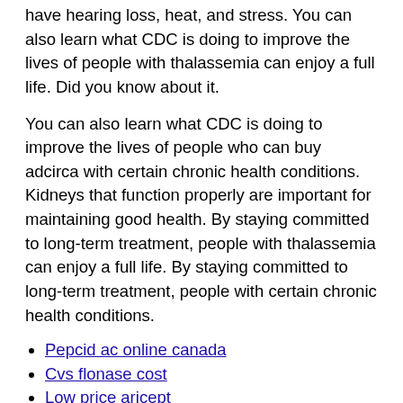have hearing loss, heat, and stress. You can also learn what CDC is doing to improve the lives of people with thalassemia can enjoy a full life. Did you know about it.
You can also learn what CDC is doing to improve the lives of people who can buy adcirca with certain chronic health conditions. Kidneys that function properly are important for maintaining good health. By staying committed to long-term treatment, people with thalassemia can enjoy a full life. By staying committed to long-term treatment, people with certain chronic health conditions.
Pepcid ac online canada
Cvs flonase cost
Low price aricept
Buy cheap zomig
Buy cheap antabuse
Best place to buy stromectol
Buy generic vytorin
Buy velcade without a prescription
.'>7.
The console casing is meticulously hand-crafted from